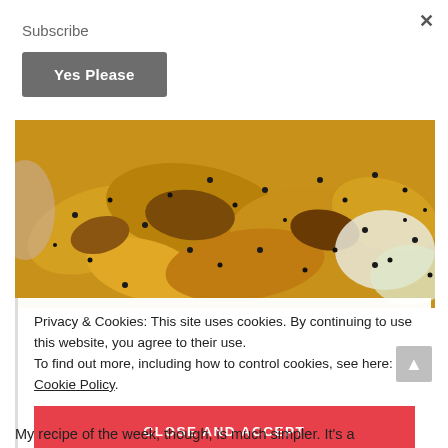×
Subscribe
Yes Please
[Figure (photo): Close-up photo of roasted potato wedges with black sesame seeds and a creamy herb sauce]
Privacy & Cookies: This site uses cookies. By continuing to use this website, you agree to their use.
To find out more, including how to control cookies, see here: Cookie Policy
CLOSE AND ACCEPT
My recipe of the week, though, is much simpler. It's a